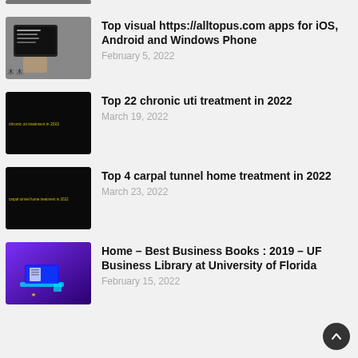[Figure (screenshot): Partial thumbnail of an article image at the top of the page]
Top visual https://alltopus.com apps for iOS, Android and Windows Phone
February 5, 2022
Top 22 chronic uti treatment in 2022
March 19, 2022
Top 4 carpal tunnel home treatment in 2022
March 23, 2022
Home – Best Business Books : 2019 – UF Business Library at University of Florida
February 15, 2022